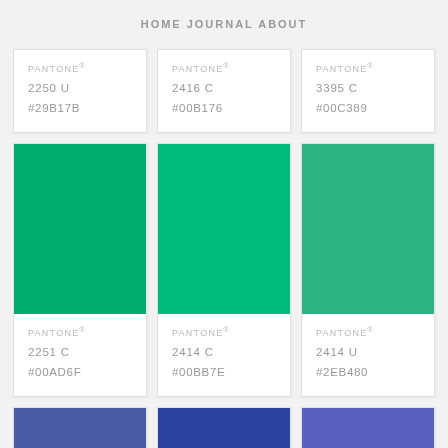HOME   JOURNAL   ABOUT
PANTONE® 2250 U #29B17B
PANTONE® 2416 C #00B176
PANTONE® 3395 C #00C389
[Figure (other): Pantone color swatch card: PANTONE® 2251 C #00AD6F, green color swatch]
[Figure (other): Pantone color swatch card: PANTONE® 2414 C #00BB7E, bright green color swatch]
[Figure (other): Pantone color swatch card: PANTONE® 2414 U #2EB480, muted green color swatch]
[Figure (other): Pantone color swatch partial: blue/indigo color, bottom of page]
[Figure (other): Pantone color swatch partial: deep blue color, bottom of page]
[Figure (other): Pantone color swatch partial: medium blue-violet color, bottom of page]